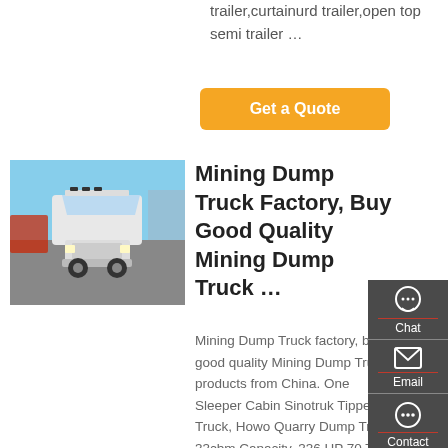trailer,curtainurd trailer,open top semi trailer …
Get a Quote
[Figure (photo): White Sinotruk mining dump truck photographed front-facing in a parking area with other trucks and buildings in background]
Mining Dump Truck Factory, Buy Good Quality Mining Dump Truck …
Mining Dump Truck factory, buy good quality Mining Dump Truck products from China. One Sleeper Cabin Sinotruk Tipper Truck, Howo Quarry Dump Truck 33cbm Capacity. 336 HP 70 Ton Mining Dump Truck With ZF8198